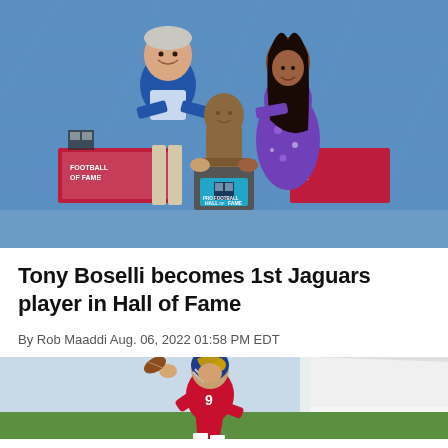[Figure (photo): Two people posing with a Pro Football Hall of Fame bronze bust. An older man in a blue blazer and khaki pants stands on the left, a woman in a purple floral dress stands on the right. Between them is a bronze bust on a pedestal with the Pro Football Hall of Fame logo. Background is a blue banner with Hall of Fame logos.]
Tony Boselli becomes 1st Jaguars player in Hall of Fame
By Rob Maaddi Aug. 06, 2022 01:58 PM EDT
[Figure (photo): Football player in a red jersey and blue Rams helmet throwing a pass during what appears to be a training camp or practice session. White tent visible in background.]